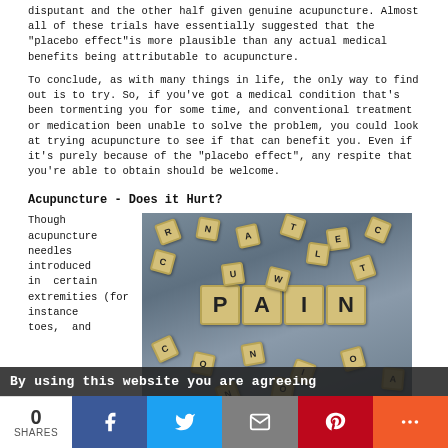disputant and the other half given genuine acupuncture. Almost all of these trials have essentially suggested that the "placebo effect"is more plausible than any actual medical benefits being attributable to acupuncture.
To conclude, as with many things in life, the only way to find out is to try. So, if you've got a medical condition that's been tormenting you for some time, and conventional treatment or medication been unable to solve the problem, you could look at trying acupuncture to see if that can benefit you. Even if it's purely because of the "placebo effect", any respite that you're able to obtain should be welcome.
Acupuncture - Does it Hurt?
Though acupuncture needles introduced in certain extremities (for instance toes, and
[Figure (photo): Scrabble tiles spelling PAIN on a grey surface with other scattered letter tiles]
By using this website you are agreeing
0 SHARES
[Figure (infographic): Social share bar with Facebook, Twitter, Email, Pinterest, and More buttons]